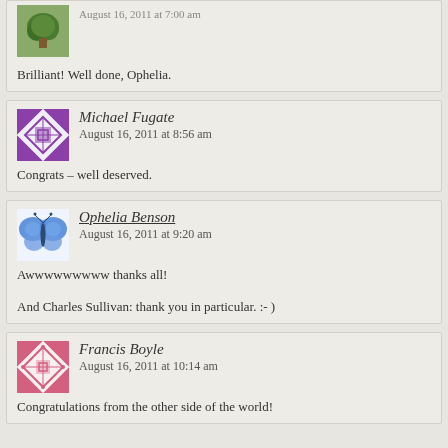Brilliant! Well done, Ophelia.
Michael Fugate
August 16, 2011 at 8:56 am
Congrats – well deserved.
Ophelia Benson
August 16, 2011 at 9:20 am
Awwwwwwwww thanks all!

And Charles Sullivan: thank you in particular. :- )
Francis Boyle
August 16, 2011 at 10:14 am
Congratulations from the other side of the world!